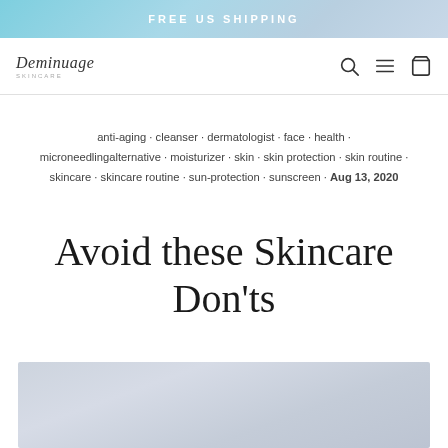FREE US SHIPPING
[Figure (logo): Deminuage skincare brand logo with italic serif text and small tagline below]
anti-aging · cleanser · dermatologist · face · health · microneedlingalternative · moisturizer · skin · skin protection · skin routine · skincare · skincare routine · sun-protection · sunscreen · Aug 13, 2020
Avoid these Skincare Don'ts
[Figure (photo): Partial hero image at bottom of page, light gray-blue gradient background, cropped]